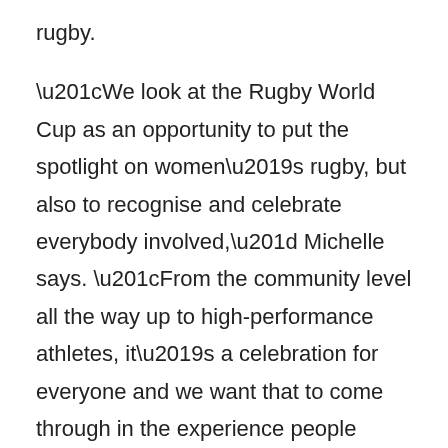rugby.
“We look at the Rugby World Cup as an opportunity to put the spotlight on women’s rugby, but also to recognise and celebrate everybody involved,” Michelle says. “From the community level all the way up to high-performance athletes, it’s a celebration for everyone and we want that to come through in the experience people have.”
Prices start from $5 for a child’s ticket and $10 for an adult. Hospitality options are also available.